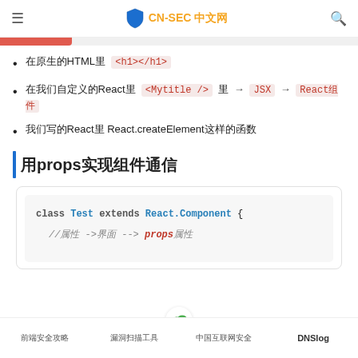CN-SEC 中文网
在原生的HTML里 <h1></h1>
在我们自定义的React里 <Mytitle /> 里 → JSX → React组件
我们写的React里 React.createElement这样的函数
用props实现组件通信
class Test extends React.Component {
  //属性 ->界面 --> props属性
前端安全攻略  漏洞扫描工具  中国互联网安全  DNSlog